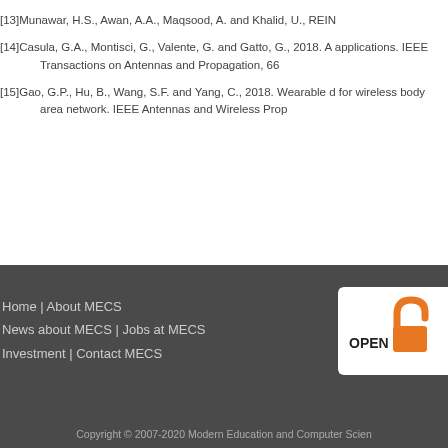[13]Munawar, H.S., Awan, A.A., Maqsood, A. and Khalid, U., REIN...
[14]Casula, G.A., Montisci, G., Valente, G. and Gatto, G., 2018. A... applications. IEEE Transactions on Antennas and Propagation, 66...
[15]Gao, G.P., Hu, B., Wang, S.F. and Yang, C., 2018. Wearable d... for wireless body area network. IEEE Antennas and Wireless Prop...
Home | About MECS
News about MECS | Jobs at MECS
Investment | Contact MECS
Copyright © 2007-2020 Modern Education and Computer Scien...